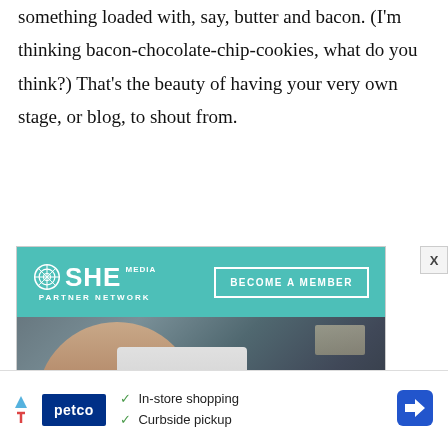something loaded with, say, butter and bacon. (I'm thinking bacon-chocolate-chip-cookies, what do you think?) That's the beauty of having your very own stage, or blog, to shout from.
[Figure (illustration): SHE Media Partner Network advertisement banner with teal header showing logo and 'BECOME A MEMBER' button, below which is a photo of a smiling woman with glasses and curly hair working on a laptop]
[Figure (illustration): Petco advertisement banner showing Petco logo, checkmark list of 'In-store shopping' and 'Curbside pickup', with navigation arrow icon]